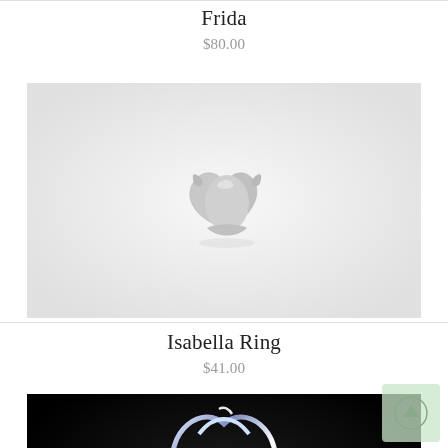Frida
$80.00
[Figure (photo): Silver sculptural jewelry piece photographed on a white background — appears to be a ring or brooch with curved, organic forms resembling a bear or abstract animal shape in sterling silver, shot on white/light grey surface.]
Isabella Ring
$41.00
[Figure (photo): Silver wire ring with looping, intertwined design photographed on a dark/black background with dramatic studio lighting creating reflections on a shiny surface below the ring.]